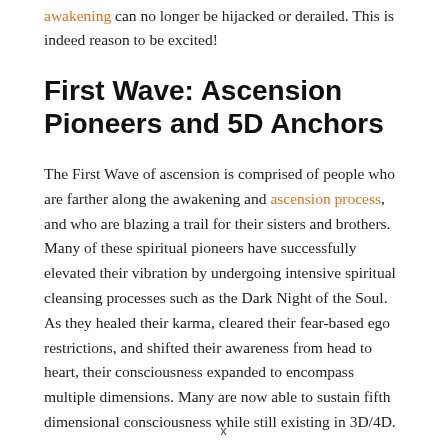awakening can no longer be hijacked or derailed. This is indeed reason to be excited!
First Wave: Ascension Pioneers and 5D Anchors
The First Wave of ascension is comprised of people who are farther along the awakening and ascension process, and who are blazing a trail for their sisters and brothers. Many of these spiritual pioneers have successfully elevated their vibration by undergoing intensive spiritual cleansing processes such as the Dark Night of the Soul. As they healed their karma, cleared their fear-based ego restrictions, and shifted their awareness from head to heart, their consciousness expanded to encompass multiple dimensions. Many are now able to sustain fifth dimensional consciousness while still existing in 3D/4D.
x